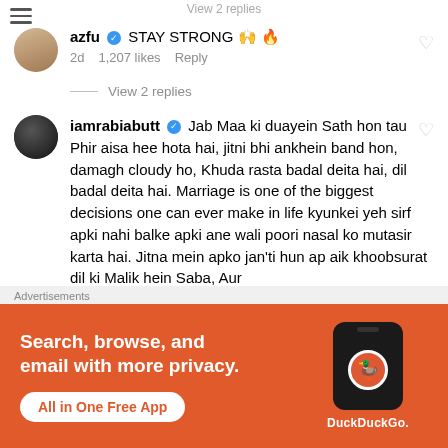View 2 replies (partial, top)
azfu ✓ STAY STRONG 🙌 🔥
2d  1,207 likes  Reply
View 2 replies
iamrabiabutt ✓ Jab Maa ki duayein Sath hon tau Phir aisa hee hota hai, jitni bhi ankhein band hon, damagh cloudy ho, Khuda rasta badal deita hai, dil badal deita hai. Marriage is one of the biggest decisions one can ever make in life kyunkei yeh sirf apki nahi balke apki ane wali poori nasal ko mutasir karta hai. Jitna mein apko jan'ti hun ap aik khoobsurat dil ki Malik hein Saba, Aur
Advertisements
[Figure (screenshot): DuckDuckGo advertisement banner: orange background with text 'Search, browse, and email with more privacy. All in One Free App' alongside a phone mockup and DuckDuckGo logo]